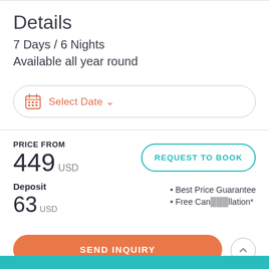Details
7 Days / 6 Nights
Available all year round
Select Date
PRICE FROM
449 USD
REQUEST TO BOOK
Deposit
63 USD
• Best Price Guarantee
• Free Cancellation*
SEND INQUIRY